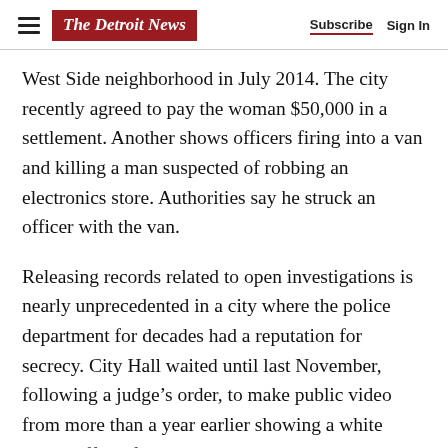The Detroit News | Subscribe  Sign In
West Side neighborhood in July 2014. The city recently agreed to pay the woman $50,000 in a settlement. Another shows officers firing into a van and killing a man suspected of robbing an electronics store. Authorities say he struck an officer with the van.
Releasing records related to open investigations is nearly unprecedented in a city where the police department for decades had a reputation for secrecy. City Hall waited until last November, following a judge’s order, to make public video from more than a year earlier showing a white police officer fatally shooting a black 17-year-old.
Advertisement